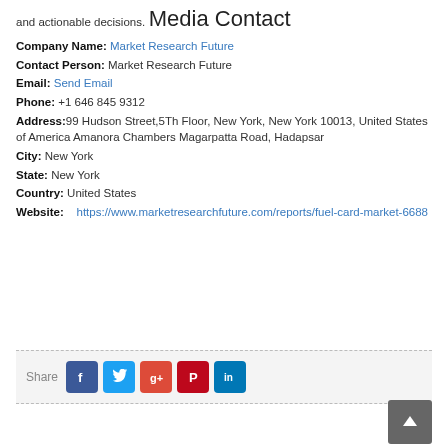and actionable decisions.
Media Contact
Company Name: Market Research Future
Contact Person: Market Research Future
Email: Send Email
Phone: +1 646 845 9312
Address:99 Hudson Street,5Th Floor, New York, New York 10013, United States of America Amanora Chambers Magarpatta Road, Hadapsar
City: New York
State: New York
Country: United States
Website: https://www.marketresearchfuture.com/reports/fuel-card-market-6688
[Figure (infographic): Share bar with social media icons: Facebook, Twitter, Google+, Pinterest, LinkedIn]